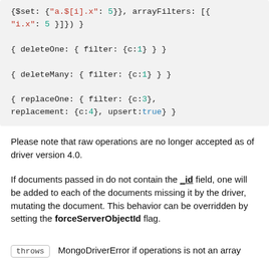{$set: {"a.$[i].x": 5}}, arrayFilters: [{"i.x": 5 }]} }
{ deleteOne: { filter: {c:1} } }
{ deleteMany: { filter: {c:1} } }
{ replaceOne: { filter: {c:3}, replacement: {c:4}, upsert:true} }
Please note that raw operations are no longer accepted as of driver version 4.0.
If documents passed in do not contain the _id field, one will be added to each of the documents missing it by the driver, mutating the document. This behavior can be overridden by setting the forceServerObjectId flag.
throws  MongoDriverError if operations is not an array